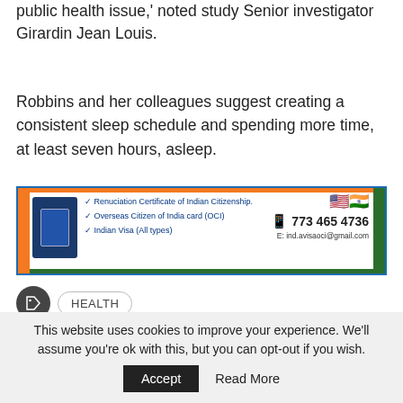public health issue,' noted study Senior investigator Girardin Jean Louis.
Robbins and her colleagues suggest creating a consistent sleep schedule and spending more time, at least seven hours, asleep.
[Figure (infographic): Advertisement banner for Indian visa services with Indian and US flags, phone number 773 465 4736, email ind.avisaoci@gmail.com, and services: Renuciation Certificate of Indian Citizenship, Overseas Citizen of India card (OCI), Indian Visa (All types)]
HEALTH
This website uses cookies to improve your experience. We'll assume you're ok with this, but you can opt-out if you wish.
Accept   Read More